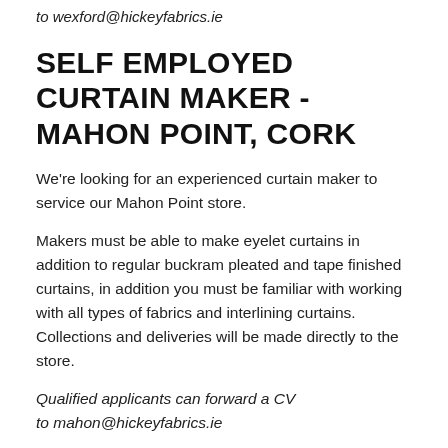to wexford@hickeyfabrics.ie
SELF EMPLOYED CURTAIN MAKER - MAHON POINT, CORK
We're looking for an experienced curtain maker to service our Mahon Point store.
Makers must be able to make eyelet curtains in addition to regular buckram pleated and tape finished curtains, in addition you must be familiar with working with all types of fabrics and interlining curtains. Collections and deliveries will be made directly to the store.
Qualified applicants can forward a CV to mahon@hickeyfabrics.ie
SELF EMPLOYED CURTAIN